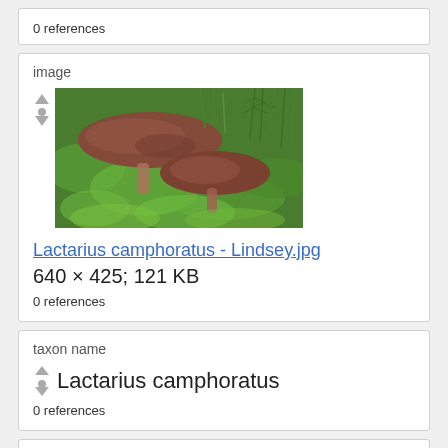0 references
image
[Figure (photo): Two brown Lactarius camphoratus mushrooms growing among bright green moss and fine needle-like plants.]
Lactarius camphoratus - Lindsey.jpg
640 × 425; 121 KB
0 references
taxon name
Lactarius camphoratus
0 references